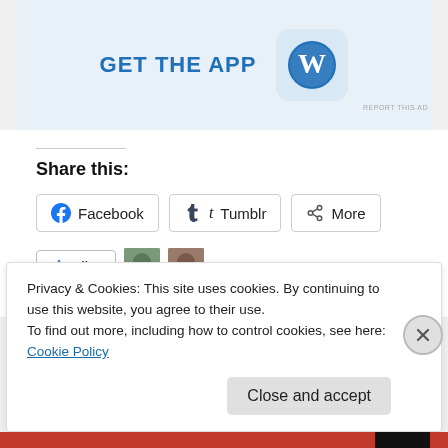[Figure (screenshot): WordPress app advertisement banner with 'GET THE APP' text and WordPress logo icon on light blue background]
REPORT THIS AD
Share this:
Facebook  Tumblr  More
[Figure (screenshot): Like button with star icon, and two blogger avatar thumbnails]
2 bloggers like this.
Privacy & Cookies: This site uses cookies. By continuing to use this website, you agree to their use.
To find out more, including how to control cookies, see here: Cookie Policy
Close and accept